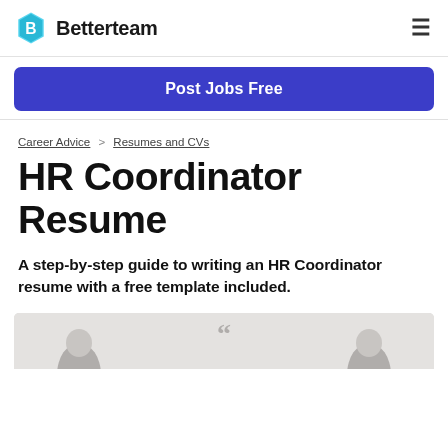Betterteam
[Figure (other): Blue hexagon logo with letter B, Betterteam wordmark, and hamburger menu icon]
Post Jobs Free
Career Advice > Resumes and CVs
HR Coordinator Resume
A step-by-step guide to writing an HR Coordinator resume with a free template included.
[Figure (photo): Partial photo showing people, likely in a professional setting, cropped at bottom of page]